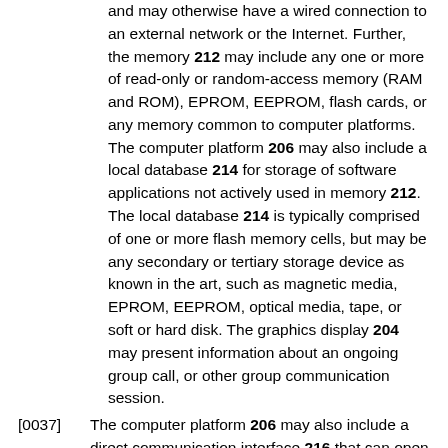and may otherwise have a wired connection to an external network or the Internet. Further, the memory 212 may include any one or more of read-only or random-access memory (RAM and ROM), EPROM, EEPROM, flash cards, or any memory common to computer platforms. The computer platform 206 may also include a local database 214 for storage of software applications not actively used in memory 212. The local database 214 is typically comprised of one or more flash memory cells, but may be any secondary or tertiary storage device as known in the art, such as magnetic media, EPROM, EEPROM, optical media, tape, or soft or hard disk. The graphics display 204 may present information about an ongoing group call, or other group communication session.
[0037] The computer platform 206 may also include a direct communication interface 216 that can open a direct communication channel. The direct communication interface 216 may also be part of the standard communication interface for the wireless communication device 200 which